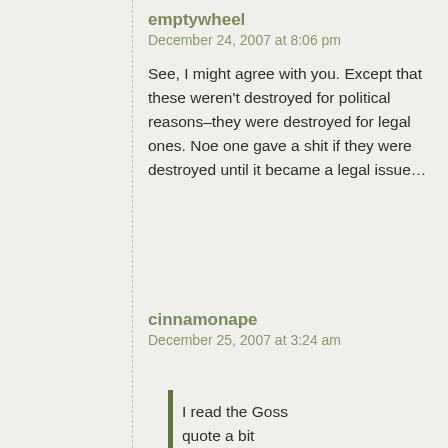emptywheel
December 24, 2007 at 8:06 pm
See, I might agree with you. Except that these weren't destroyed for political reasons–they were destroyed for legal ones. Noe one gave a shit if they were destroyed until it became a legal issue…
cinnamonape
December 25, 2007 at 3:24 am
I read the Goss quote a bit